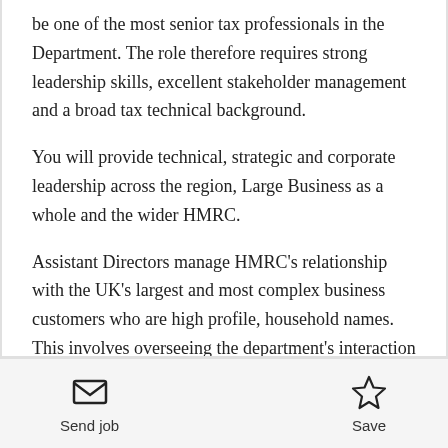be one of the most senior tax professionals in the Department. The role therefore requires strong leadership skills, excellent stakeholder management and a broad tax technical background.
You will provide technical, strategic and corporate leadership across the region, Large Business as a whole and the wider HMRC.
Assistant Directors manage HMRC's relationship with the UK's largest and most complex business customers who are high profile, household names.
This involves overseeing the department's interaction with
Send job | Save